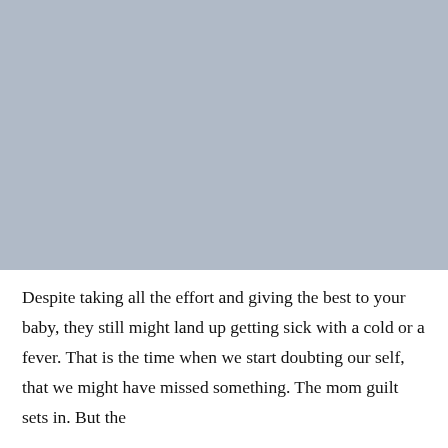[Figure (photo): A large light blue-grey placeholder image occupying the top portion of the page.]
Despite taking all the effort and giving the best to your baby, they still might land up getting sick with a cold or a fever. That is the time when we start doubting our self, that we might have missed something. The mom guilt sets in. But the